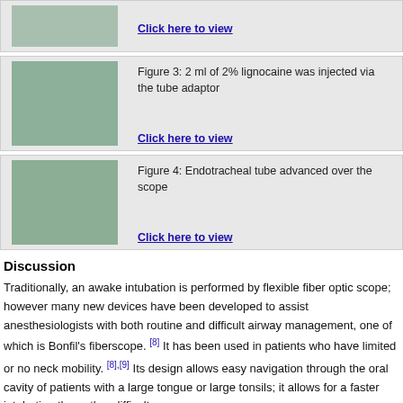[Figure (photo): Medical/surgical photo showing a procedure]
Click here to view
[Figure (photo): Figure 3: 2 ml of 2% lignocaine was injected via the tube adaptor]
Figure 3: 2 ml of 2% lignocaine was injected via the tube adaptor
Click here to view
[Figure (photo): Figure 4: Endotracheal tube advanced over the scope]
Figure 4: Endotracheal tube advanced over the scope
Click here to view
Discussion
Traditionally, an awake intubation is performed by flexible fiber optic scope; however many new devices have been developed to assist anesthesiologists with both routine and difficult airway management, one of which is Bonfil's fiberscope. [8] It has been used in patients who have limited or no neck mobility. [8],[9] Its design allows easy navigation through the oral cavity of patients with a large tongue or large tonsils; it allows for a faster intubation than other difficult